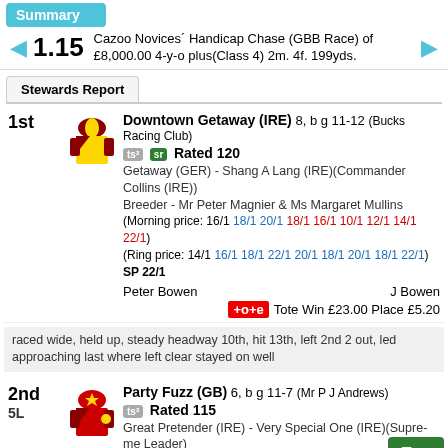Summary
1.15 Cazoo Novices' Handicap Chase (GBB Race) of £8,000.00 4-y-o plus(Class 4) 2m. 4f. 199yds.
Stewards Report
1st Downtown Getaway (IRE) 8, b g 11-12 (Bucks Racing Club) ts² sr Rated 120 Getaway (GER) - Shang A Lang (IRE)(Commander Collins (IRE)) Breeder - Mr Peter Magnier & Ms Margaret Mullins (Morning price: 16/1 18/1 20/1 18/1 16/1 10/1 12/1 14/1 22/1) (Ring price: 14/1 16/1 18/1 22/1 20/1 18/1 20/1 18/1 22/1) SP 22/1 Peter Bowen J Bowen +o+e Tote Win £23.00 Place £5.20
raced wide, held up, steady headway 10th, hit 13th, left 2nd 2 out, led approaching last where left clear stayed on well
2nd 5L Party Fuzz (GB) 6, b g 11-7 (Mr P J Andrews) ts² Rated 115 Great Pretender (IRE) - Very Special One (IRE)(Supreme Leader) Breeder - Mrs J Way